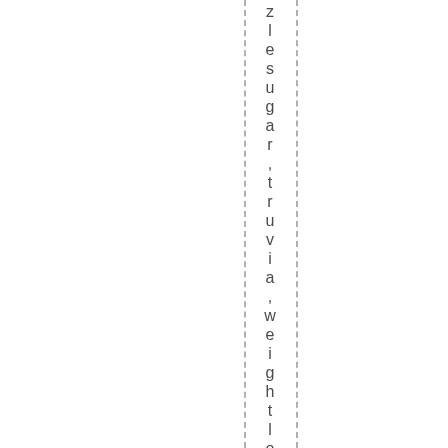les ugar, truvia, weight los s